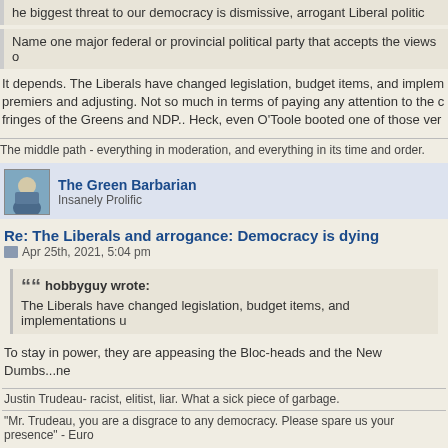he biggest threat to our democracy is dismissive, arrogant Liberal politic
Name one major federal or provincial political party that accepts the views o
It depends. The Liberals have changed legislation, budget items, and implem premiers and adjusting. Not so much in terms of paying any attention to the c fringes of the Greens and NDP.. Heck, even O'Toole booted one of those ver
The middle path - everything in moderation, and everything in its time and order.
The Green Barbarian
Insanely Prolific
Re: The Liberals and arrogance: Democracy is dying
Apr 25th, 2021, 5:04 pm
hobbyguy wrote: The Liberals have changed legislation, budget items, and implementations u
To stay in power, they are appeasing the Bloc-heads and the New Dumbs...ne
Justin Trudeau- racist, elitist, liar. What a sick piece of garbage.
"Mr. Trudeau, you are a disgrace to any democracy. Please spare us your presence" - Euro